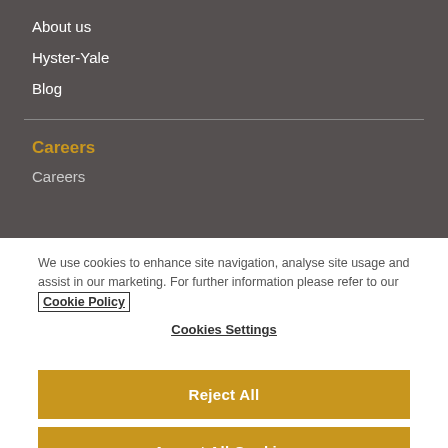About us
Hyster-Yale
Blog
Careers
Careers
We use cookies to enhance site navigation, analyse site usage and assist in our marketing. For further information please refer to our Cookie Policy
Cookies Settings
Reject All
Accept All Cookies